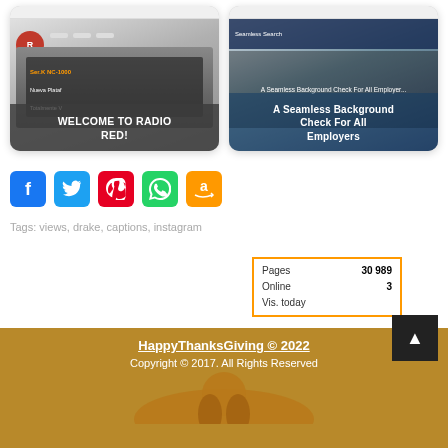[Figure (screenshot): Two website screenshot thumbnails side by side. Left: Radio Red website with walkie-talkie products. Right: Seamless Background Check website for employers.]
[Figure (infographic): Social media share buttons: Facebook (blue), Twitter (light blue), Pinterest (red), WhatsApp (green), Amazon (orange)]
Tags: views, drake, captions, instagram
HappyThanksGiving © 2022
Copyright © 2017. All Rights Reserved
Pages 30 989 | Online 3 | Vis. today